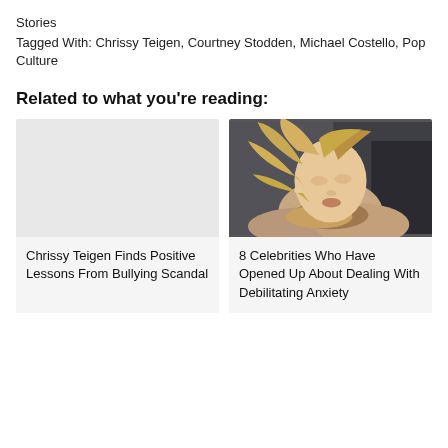Stories
Tagged With: Chrissy Teigen, Courtney Stodden, Michael Costello, Pop Culture
Related to what you're reading:
[Figure (photo): Empty light gray placeholder image for Chrissy Teigen article]
Chrissy Teigen Finds Positive Lessons From Bullying Scandal
[Figure (photo): Photo of a blonde female celebrity at a formal event, looking down, with fur or feathered outfit, dark background]
8 Celebrities Who Have Opened Up About Dealing With Debilitating Anxiety